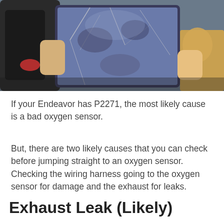[Figure (photo): A person holding a diagnostic tablet/scanner device, showing a cracked or dirty screen. Another person in a yellow/orange garment is partially visible in the background.]
If your Endeavor has P2271, the most likely cause is a bad oxygen sensor.
But, there are two likely causes that you can check before jumping straight to an oxygen sensor. Checking the wiring harness going to the oxygen sensor for damage and the exhaust for leaks.
Exhaust Leak (Likely)